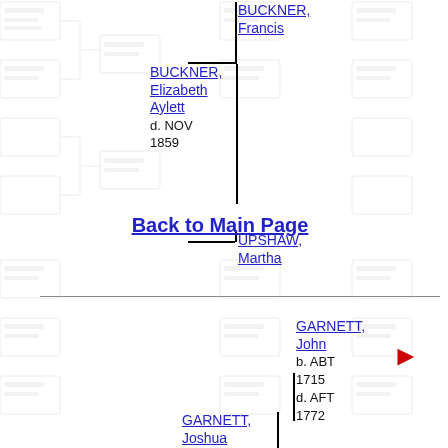[Figure (other): Genealogical pedigree/family tree chart background with blurred ancestor boxes and bracket lines]
BUCKNER, Francis
BUCKNER, Elizabeth Aylett d. NOV 1859
UPSHAW, Martha
Back to Main Page
GARNETT, John b. ABT 1715 d. AFT 1772
GARNETT, Joshua b. 1740